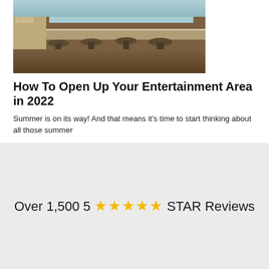[Figure (photo): Interior photo showing bar stools along a counter/bar area near a window, with wood flooring]
How To Open Up Your Entertainment Area in 2022
Summer is on its way! And that means it's time to start thinking about all those summer
Over 1,500 5 ★★★★★ STAR Reviews